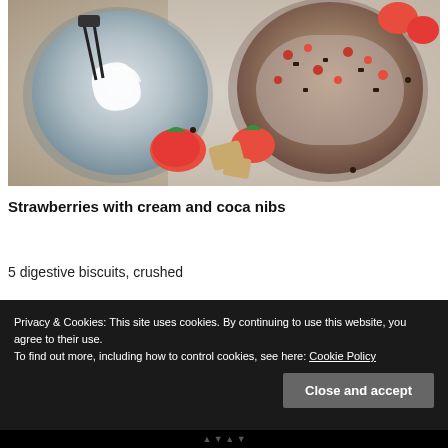[Figure (photo): Top-down food photography showing two ceramic bowls on a white linen background. Left bowl contains whipped cream with mixer beaters. Right bowl contains granola-style topping with red berry pieces and dark chocolate nibs. Fresh strawberries and digestive biscuit pieces are scattered around the bowls.]
Strawberries with cream and coca nibs
5 digestive biscuits, crushed
Privacy & Cookies: This site uses cookies. By continuing to use this website, you agree to their use.
To find out more, including how to control cookies, see here: Cookie Policy
Close and accept